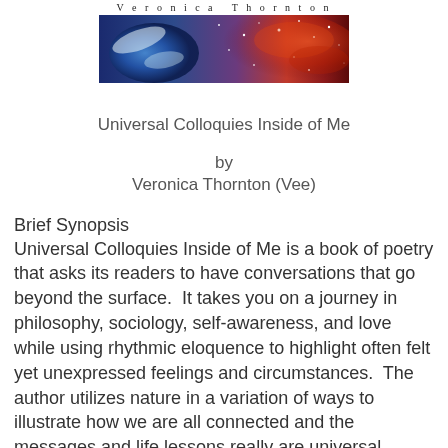[Figure (photo): Book cover banner image showing space/nebula with earth, with author name 'Veronica Thornton' in spaced letters above the image]
Universal Colloquies Inside of Me
by
Veronica Thornton (Vee)
Brief Synopsis
Universal Colloquies Inside of Me is a book of poetry that asks its readers to have conversations that go beyond the surface.  It takes you on a journey in philosophy, sociology, self-awareness, and love while using rhythmic eloquence to highlight often felt yet unexpressed feelings and circumstances.  The author utilizes nature in a variation of ways to illustrate how we are all connected and the messages and life lessons really are universal.